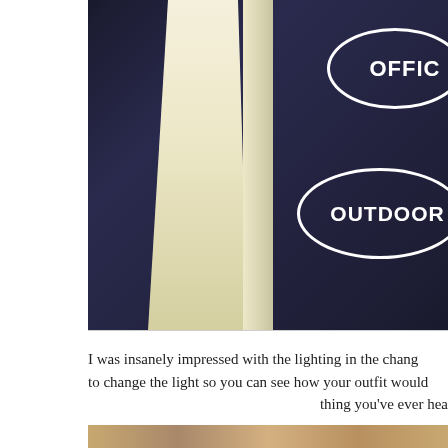[Figure (photo): Photo of a fitting room or changing area with dramatic lighting — a bright white/cream light beam contrasts against a dark navy/dark blue wall. On the right side, partial signage with oval-shaped labels reading 'OFFIC' (truncated, likely 'OFFICE') and 'OUTDOOR' in white text on dark background.]
I was insanely impressed with the lighting in the chang... to change the light so you can see how your outfit would... thing you've ever hea...
[Figure (photo): Partially visible bottom photo, appears to show a textured brown/tan surface.]